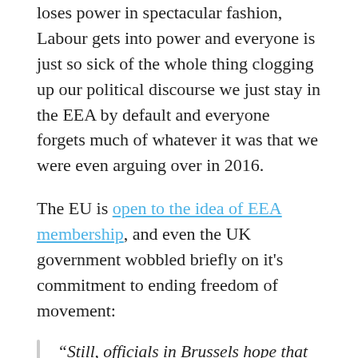loses power in spectacular fashion, Labour gets into power and everyone is just so sick of the whole thing clogging up our political discourse we just stay in the EEA by default and everyone forgets much of whatever it was that we were even arguing over in 2016.
The EU is open to the idea of EEA membership, and even the UK government wobbled briefly on it's commitment to ending freedom of movement:
“Still, officials in Brussels hope that once the reality of a “hard Brexit” — of which British manufacturers and industry associations already warn — comes closer, the U.K. might become open to the Norway option, at least as a temporary solution.

Such hopes have been spurred as the British